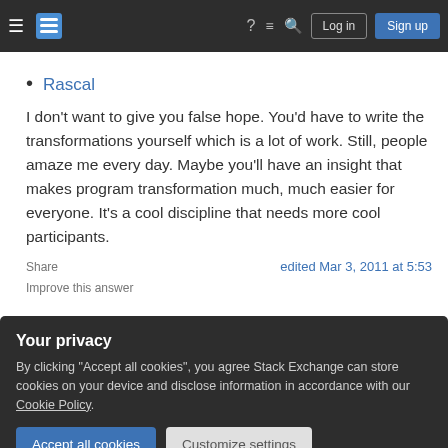Stack Exchange navigation bar with hamburger menu, logo, help, chat, search icons, Log in and Sign up buttons
Rascal
I don't want to give you false hope. You'd have to write the transformations yourself which is a lot of work. Still, people amaze me every day. Maybe you'll have an insight that makes program transformation much, much easier for everyone. It's a cool discipline that needs more cool participants.
Share    edited Mar 3, 2011 at 5:53
Improve this answer
Your privacy
By clicking "Accept all cookies", you agree Stack Exchange can store cookies on your device and disclose information in accordance with our Cookie Policy.
Accept all cookies   Customize settings
and TXL are fairly robust. One big issue: you need